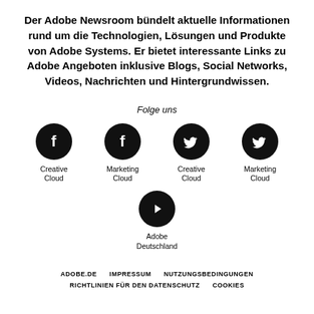Der Adobe Newsroom bündelt aktuelle Informationen rund um die Technologien, Lösungen und Produkte von Adobe Systems. Er bietet interessante Links zu Adobe Angeboten inklusive Blogs, Social Networks, Videos, Nachrichten und Hintergrundwissen.
Folge uns
[Figure (infographic): Four social media icons arranged in a row: two Facebook icons labeled Creative Cloud and Marketing Cloud, two Twitter icons labeled Creative Cloud and Marketing Cloud. Below, a YouTube icon labeled Adobe Deutschland.]
ADOBE.DE   IMPRESSUM   NUTZUNGSBEDINGUNGEN   RICHTLINIEN FÜR DEN DATENSCHUTZ   COOKIES